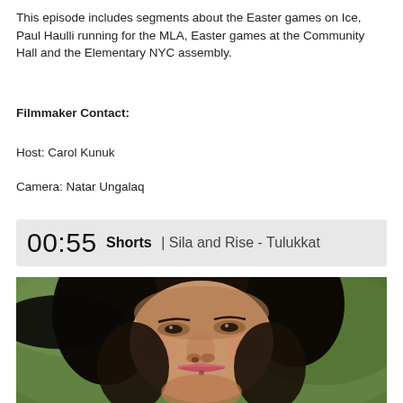This episode includes segments about the Easter games on Ice, Paul Haulli running for the MLA, Easter games at the Community Hall and the Elementary NYC assembly.
Filmmaker Contact:
Host: Carol Kunuk
Camera: Natar Ungalaq
00:55 Shorts | Sila and Rise - Tulukkat
[Figure (photo): Close-up portrait of a woman with dark curly hair wearing a black hat, looking slightly upward, with a green blurred background]